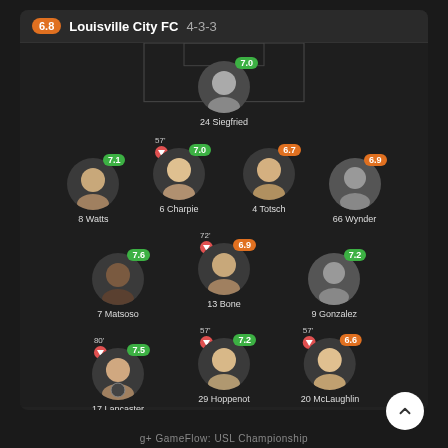Louisville City FC  4-3-3
[Figure (infographic): Soccer lineup / formation diagram for Louisville City FC in a 4-3-3 formation. Players displayed on dark pitch background with circular avatar photos, rating badges, and substitution indicators. GK: 24 Siegfried (7.0). Midfield row: 8 Watts (7.1), 6 Charpie (7.0, sub 57'), 4 Totsch (6.7), 66 Wynder (6.9). Mid row: 7 Matsoso (7.6), 13 Bone (6.9, sub 72'), 9 Gonzalez (7.2). Forward row: 17 Lancaster (7.5, sub 80'), 29 Hoppenot (7.2, sub 57'), 20 McLaughlin (6.6, sub 57'). Team average rating: 6.8.]
g+ GameFlow: USL Championship